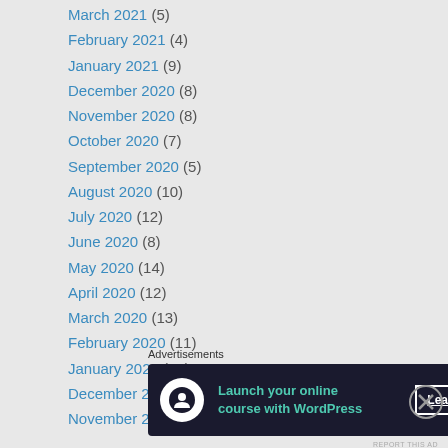March 2021 (5)
February 2021 (4)
January 2021 (9)
December 2020 (8)
November 2020 (8)
October 2020 (7)
September 2020 (5)
August 2020 (10)
July 2020 (12)
June 2020 (8)
May 2020 (14)
April 2020 (12)
March 2020 (13)
February 2020 (11)
January 2020 (10)
December 2019 (14)
November 2019 (10)
Advertisements
[Figure (infographic): Advertisement banner: Launch your online course with WordPress. Learn More button. Dark background with teal text and WordPress logo icon.]